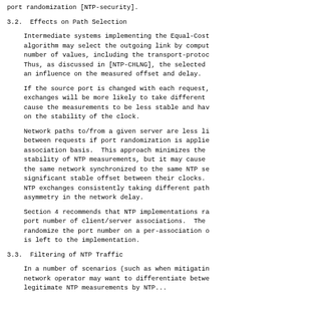port randomization [NTP-security].
3.2.  Effects on Path Selection
Intermediate systems implementing the Equal-Cost
algorithm may select the outgoing link by comput
number of values, including the transport-protoc
Thus, as discussed in [NTP-CHLNG], the selected
an influence on the measured offset and delay.
If the source port is changed with each request,
exchanges will be more likely to take different
cause the measurements to be less stable and hav
on the stability of the clock.
Network paths to/from a given server are less li
between requests if port randomization is applie
association basis.  This approach minimizes the
stability of NTP measurements, but it may cause
the same network synchronized to the same NTP se
significant stable offset between their clocks.
NTP exchanges consistently taking different path
asymmetry in the network delay.
Section 4 recommends that NTP implementations ra
port number of client/server associations.  The
randomize the port number on a per-association o
is left to the implementation.
3.3.  Filtering of NTP Traffic
In a number of scenarios (such as when mitigatin
network operator may want to differentiate betwe
legitimate NTP measurements by NTP...